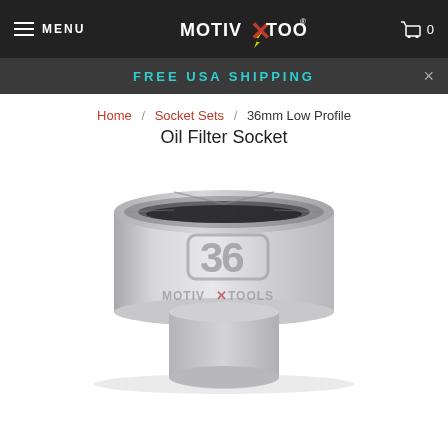MENU | MOTIV X TOOLS | Cart 0
FREE USA SHIPPING
Home / Socket Sets / 36mm Low Profile Oil Filter Socket
36mm Low Profile Oil Filter Socket
[Figure (photo): 36mm Low Profile Oil Filter Socket by Motiv X Tools. Silver/chrome-colored cylindrical socket with hexagonal top, engraved with number 36, Motiv X Tools logo, and model number MX2336.]